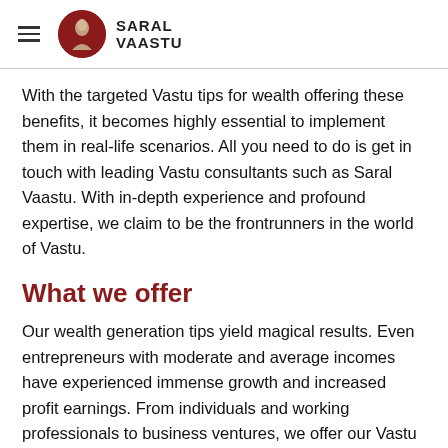SARAL VAASTU
With the targeted Vastu tips for wealth offering these benefits, it becomes highly essential to implement them in real-life scenarios. All you need to do is get in touch with leading Vastu consultants such as Saral Vaastu. With in-depth experience and profound expertise, we claim to be the frontrunners in the world of Vastu.
What we offer
Our wealth generation tips yield magical results. Even entrepreneurs with moderate and average incomes have experienced immense growth and increased profit earnings. From individuals and working professionals to business ventures, we offer our Vastu services to one and all. Our Vastu tips for increased earnings and wealth can ensure a rock-solid start for your business.